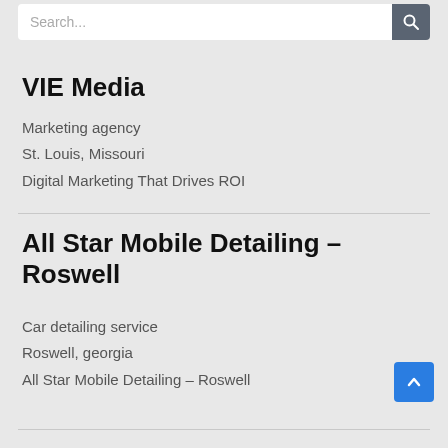[Figure (screenshot): Search bar with placeholder text 'Search...' and a dark search button with magnifier icon]
VIE Media
Marketing agency
St. Louis, Missouri
Digital Marketing That Drives ROI
All Star Mobile Detailing – Roswell
Car detailing service
Roswell, georgia
All Star Mobile Detailing – Roswell